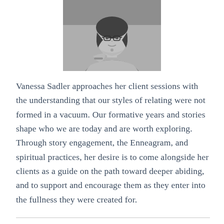[Figure (photo): Black and white portrait photograph of Vanessa Sadler, a woman with glasses and short curly hair, resting her chin on her hand in a thoughtful pose.]
Vanessa Sadler approaches her client sessions with the understanding that our styles of relating were not formed in a vacuum. Our formative years and stories shape who we are today and are worth exploring. Through story engagement, the Enneagram, and spiritual practices, her desire is to come alongside her clients as a guide on the path toward deeper abiding, and to support and encourage them as they enter into the fullness they were created for.